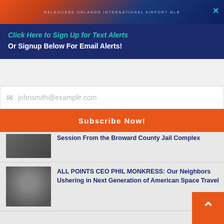[Figure (illustration): Melbourne Orlando International Airport advertisement banner with orange and blue gradient, airport text visible]
Click Here to Sign Up for Text Alerts
Or Signup Below For Email Alerts!
johnsmith@example.com (placeholder)
Subscribe Now!
Session From the Broward County Jail Complex
ALL POINTS CEO PHIL MONKRESS: Our Neighbors Ushering in Next Generation of American Space Travel
Artemis 1 Launch Countdown Now Underway for Monday Morning Blastoff for the Moon
Meet the Teams of Experts Supporting SLS Launch and Orion's First Trip Around the Moon
Fitness Club Merritt Island Owners